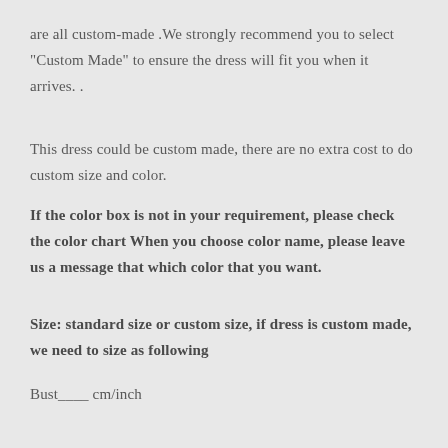are all custom-made .We strongly recommend you to select "Custom Made" to ensure the dress will fit you when it arrives. .
This dress could be custom made, there are no extra cost to do custom size and color.
If the color box is not in your requirement, please check the color chart When you choose color name, please leave us a message that which color that you want.
Size: standard size or custom size, if dress is custom made, we need to size as following
Bust____ cm/inch